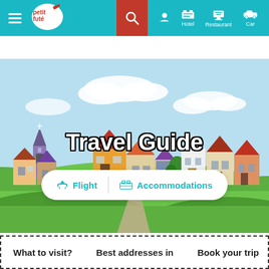[Figure (screenshot): Petit Futé travel guide website screenshot showing navigation bar with teal background, hamburger menu, Petit Futé logo, red search button, user/hotel/restaurant/car icons, an illustrated colorful town hero image, Travel Guide title, Flight and Accommodations search options, and a navigation link bar with What to visit?, Best addresses in, Book your trip, and Pictu links.]